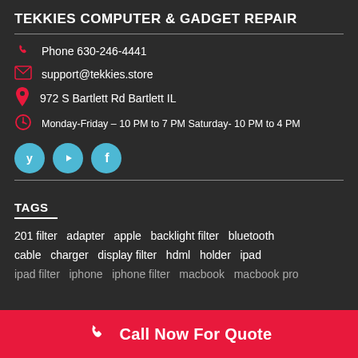TEKKIES COMPUTER & GADGET REPAIR
Phone 630-246-4441
support@tekkies.store
972 S Bartlett Rd Bartlett IL
Monday-Friday – 10 PM to 7 PM Saturday- 10 PM to 4 PM
[Figure (other): Three social media icons: Yelp, YouTube, Facebook in cyan circles]
TAGS
201 filter   adapter   apple   backlight filter   bluetooth   cable   charger   display filter   hdml   holder   ipad   ipad filter   iphone   iphone filter   macbook   macbook pro
Call Now For Quote